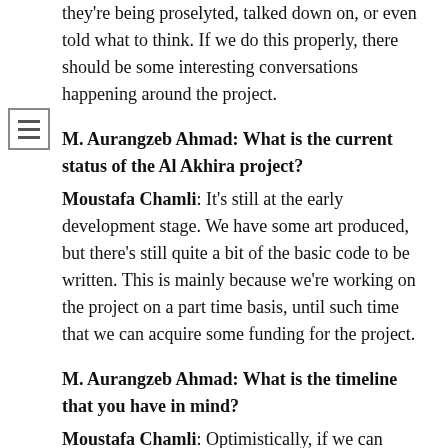they're being proselyted, talked down on, or even told what to think. If we do this properly, there should be some interesting conversations happening around the project.
M. Aurangzeb Ahmad: What is the current status of the Al Akhira project?
Moustafa Chamli: It's still at the early development stage. We have some art produced, but there's still quite a bit of the basic code to be written. This is mainly because we're working on the project on a part time basis, until such time that we can acquire some funding for the project.
M. Aurangzeb Ahmad: What is the timeline that you have in mind?
Moustafa Chamli: Optimistically, if we can manage to work on the game full time, we would have more complete build of the game within a year. This